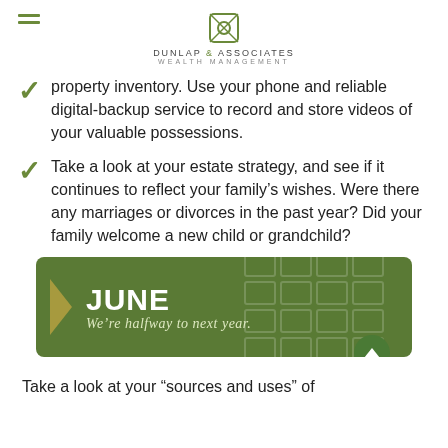Dunlap & Associates Wealth Management
property inventory. Use your phone and reliable digital-backup service to record and store videos of your valuable possessions.
Take a look at your estate strategy, and see if it continues to reflect your family’s wishes. Were there any marriages or divorces in the past year? Did your family welcome a new child or grandchild?
[Figure (infographic): Green banner with JUNE heading and subtitle We’re halfway to next year. with calendar grid background pattern and arrow shape on left.]
Take a look at your “sources and uses” of